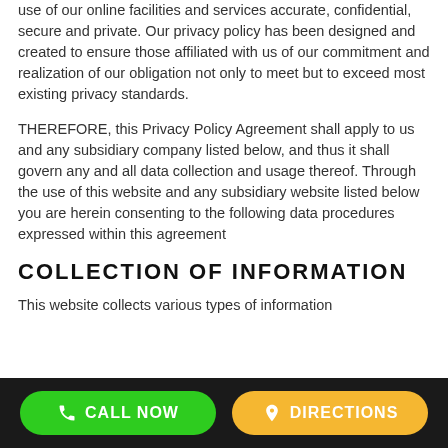use of our online facilities and services accurate, confidential, secure and private. Our privacy policy has been designed and created to ensure those affiliated with us of our commitment and realization of our obligation not only to meet but to exceed most existing privacy standards.
THEREFORE, this Privacy Policy Agreement shall apply to us and any subsidiary company listed below, and thus it shall govern any and all data collection and usage thereof. Through the use of this website and any subsidiary website listed below you are herein consenting to the following data procedures expressed within this agreement
COLLECTION OF INFORMATION
This website collects various types of information
CALL NOW  DIRECTIONS